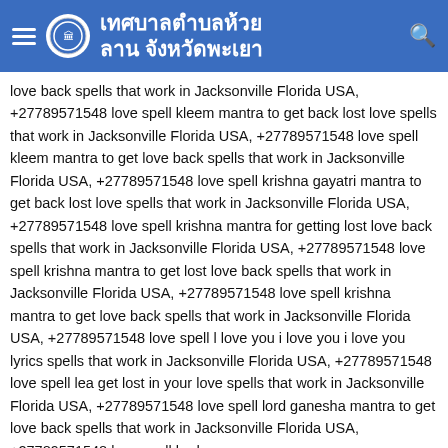เทศบาลตำบลห้วยลาน จังหวัดพะเยา
love back spells that work in Jacksonville Florida USA, +27789571548 love spell kleem mantra to get back lost love spells that work in Jacksonville Florida USA, +27789571548 love spell kleem mantra to get love back spells that work in Jacksonville Florida USA, +27789571548 love spell krishna gayatri mantra to get back lost love spells that work in Jacksonville Florida USA, +27789571548 love spell krishna mantra for getting lost love back spells that work in Jacksonville Florida USA, +27789571548 love spell krishna mantra to get lost love back spells that work in Jacksonville Florida USA, +27789571548 love spell krishna mantra to get love back spells that work in Jacksonville Florida USA, +27789571548 love spell l love you i love you i love you lyrics spells that work in Jacksonville Florida USA, +27789571548 love spell lea get lost in your love spells that work in Jacksonville Florida USA, +27789571548 love spell lord ganesha mantra to get love back spells that work in Jacksonville Florida USA, +27789571548 love spell lord
เทศบาลตำบลห้วยลาน จังหวัดพะเยา — Hi! How can we help you?
spells that work in Jacksonville Florida USA, +27789571548 love spell